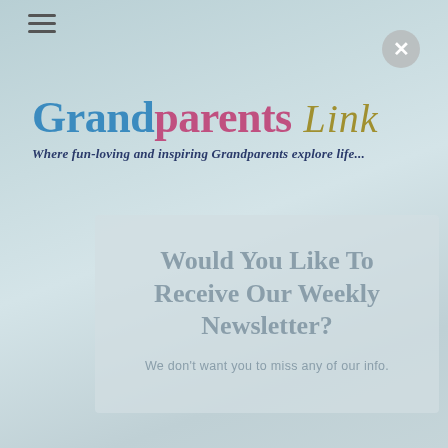[Figure (screenshot): Background screenshot of a website with blue-grey teal gradient sky/water background]
≡  ×
Grandparents Link
Where fun-loving and inspiring Grandparents explore life...
Would You Like To Receive Our Weekly Newsletter?
We don't want you to miss any of our info.